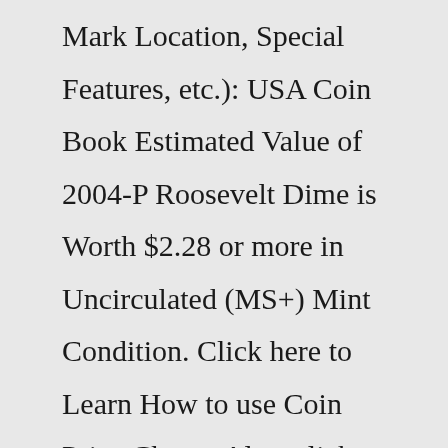Mark Location, Special Features, etc.): USA Coin Book Estimated Value of 2004-P Roosevelt Dime is Worth $2.28 or more in Uncirculated (MS+) Mint Condition. Click here to Learn How to use Coin Price Charts. Also, click here to Learn About Grading Coins.USA Coin Book Estimated Value of 2004-P Jefferson Nickel (Peace Medal Variety) is Worth $0.28 to $0.85 or more in Uncirculated (MS+) Mint Condition. Click here to Learn How to use Coin Price Charts.